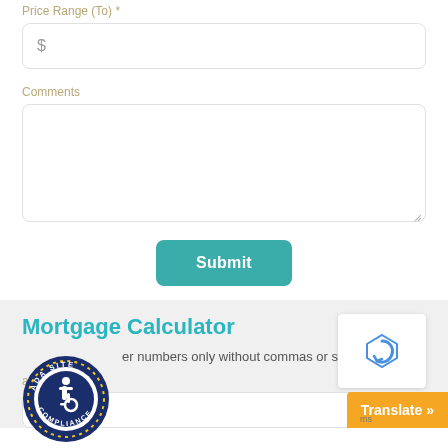Price Range (To) *
$
Comments
Submit
Mortgage Calculator
[Figure (logo): ADA Site Compliance circular badge with wheelchair accessibility icon]
er numbers only without commas or spaces.
[Figure (logo): reCAPTCHA widget]
al Amount
Translate »
ms